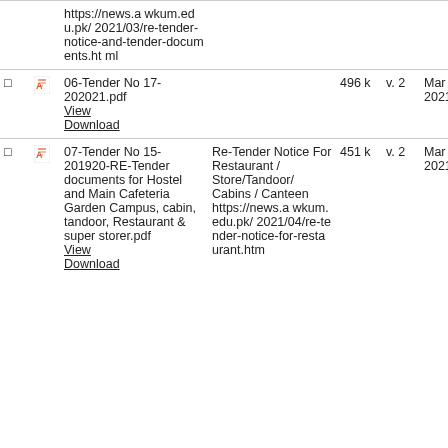|  |  | Name | Description | Size | Ver. | Date | User |
| --- | --- | --- | --- | --- | --- | --- | --- |
|  |  | https://news.awkum.edu.pk/2021/03/re-tender-notice-and-tender-documents.html |  |  |  |  |  |
| ☐ | PDF | 06-Tender No 17-202021.pdf
View
Download |  | 496 k | v. 2 | Mar 31, 2021 | Ilyas Khalil |
| ☐ | PDF | 07-Tender No 15-201920-RE-Tender documents for Hostel and Main Cafeteria Garden Campus, cabin, tandoor, Restaurant & super storer.pdf
View
Download | Re-Tender Notice For Restaurant / Store/Tandoor/ Cabins / Canteen
https://news.awkum.edu.pk/2021/04/re-tender-notice-for-restaurant.htm | 451 k | v. 2 | Mar 31, 2021 | Ilyas Khalil |